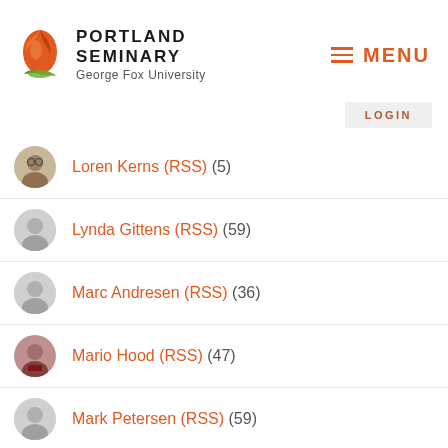[Figure (logo): Portland Seminary at George Fox University logo with flame and leaf icon]
MENU
LOGIN
Loren Kerns (RSS) (5)
Lynda Gittens (RSS) (59)
Marc Andresen (RSS) (36)
Mario Hood (RSS) (47)
Mark Petersen (RSS) (59)
Mark Steele (RSS) (26)